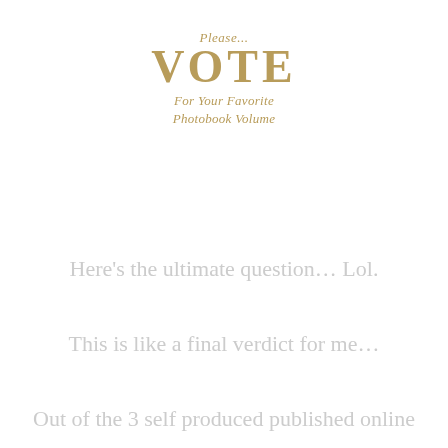[Figure (logo): Vote logo in gold/tan color with italic 'Please...' above large bold 'VOTE' text and italic 'For Your Favorite Photobook Volume' below]
Here's the ultimate question… Lol. This is like a final verdict for me… Out of the 3 self produced published online photo books, which is your ultimate favorite and why?!